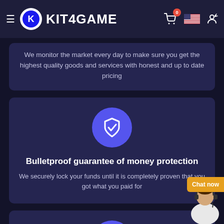KIT4GAME
We monitor the market every day to make sure you get the highest quality goods and services with honest and up to date pricing
[Figure (illustration): Purple circle with white shield and checkmark icon]
Bulletproof guarantee of money protection
We securely lock your funds until it is completely proven that you got what you paid for
[Figure (illustration): Purple circle with white gear/sun icon]
One-stop shop for all your gaming needs
Whether you seek top quality services or to bargain with sellers on the